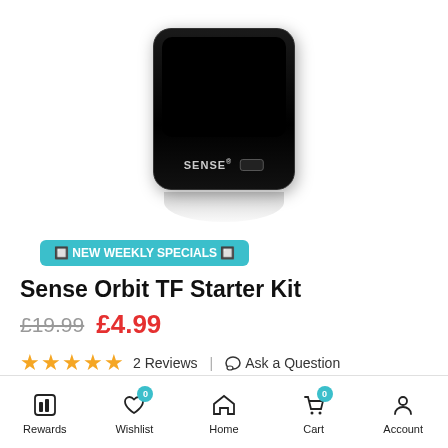[Figure (photo): Black Sense Orbit TF device shown from below at an angle, with SENSE logo and USB port visible, with a soft reflection beneath]
🔲 NEW WEEKLY SPECIALS 🔲
Sense Orbit TF Starter Kit
£19.99  £4.99
★★★★★ 2 Reviews | 🗨 Ask a Question
Rewards  Wishlist 0  Home  Cart 0  Account